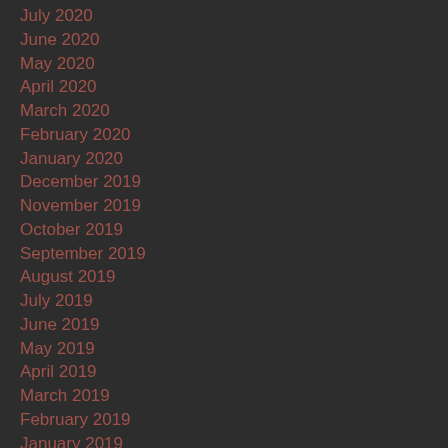July 2020
June 2020
May 2020
April 2020
March 2020
February 2020
January 2020
December 2019
November 2019
October 2019
September 2019
August 2019
July 2019
June 2019
May 2019
April 2019
March 2019
February 2019
January 2019
December 2018
November 2018